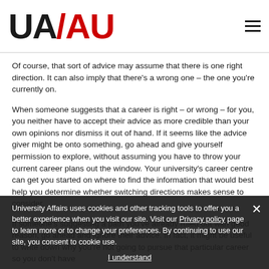[Figure (logo): UA/AU University Affairs logo — 'UA' in black bold and 'AU' in red bold separated by a red slash]
Of course, that sort of advice may assume that there is one right direction.  It can also imply that there's a wrong one – the one you're currently on.
When someone suggests that a career is right – or wrong – for you, you neither have to accept their advice as more credible than your own opinions nor dismiss it out of hand.  If it seems like the advice giver might be onto something, go ahead and give yourself permission to explore, without assuming you have to throw your current career plans out the window.  Your university's career centre can get you started on where to find the information that would best help you determine whether switching directions makes sense to consider.
If someone's suggesting a path you've already ruled out with good reason, go ahead and ignore their advice.  In fact, it might be useful to write down why you're not going to pursue that particular career so you don't have
University Affairs uses cookies and other tracking tools to offer you a better experience when you visit our site. Visit our Privacy policy page to learn more or to change your preferences. By continuing to use our site, you consent to cookie use.